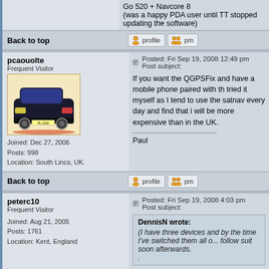Go 520 + Navcore 8
(was a happy PDA user until TT stopped updating the software)
Back to top
pcaouolte
Frequent Visitor
Posted: Fri Sep 19, 2008 12:49 pm    Post subject:
If you want the QGPSFix and have a mobile phone paired with th... tried it myself as I tend to use the satnav every day and find that i... will be more expensive than in the UK.
Paul
Joined: Dec 27, 2006
Posts: 998
Location: South Lincs, UK.
Back to top
peterc10
Frequent Visitor
Posted: Fri Sep 19, 2008 4:03 pm    Post subject:
Joined: Aug 21, 2005
Posts: 1761
Location: Kent, England
DennisN wrote:
(I have three devices and by the time I've switched them all o... follow suit soon afterwards.
.
Dennis
Having 3 women telling you where to go!! No wonder you need th